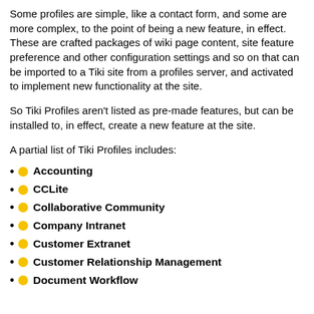Some profiles are simple, like a contact form, and some are more complex, to the point of being a new feature, in effect. These are crafted packages of wiki page content, site feature preference and other configuration settings and so on that can be imported to a Tiki site from a profiles server, and activated to implement new functionality at the site.
So Tiki Profiles aren't listed as pre-made features, but can be installed to, in effect, create a new feature at the site.
A partial list of Tiki Profiles includes:
Accounting
CCLite
Collaborative Community
Company Intranet
Customer Extranet
Customer Relationship Management
Document Workflow